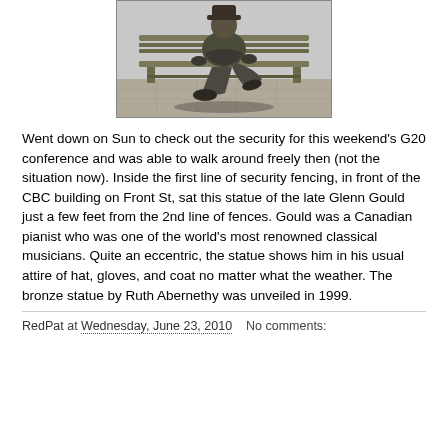[Figure (photo): A bronze statue of Glenn Gould seated on a bench, viewed from the side, on a paved outdoor surface.]
Went down on Sun to check out the security for this weekend's G20 conference and was able to walk around freely then (not the situation now). Inside the first line of security fencing, in front of the CBC building on Front St, sat this statue of the late Glenn Gould just a few feet from the 2nd line of fences. Gould was a Canadian pianist who was one of the world's most renowned classical musicians. Quite an eccentric, the statue shows him in his usual attire of hat, gloves, and coat no matter what the weather. The bronze statue by Ruth Abernethy was unveiled in 1999.
RedPat at Wednesday, June 23, 2010   No comments: